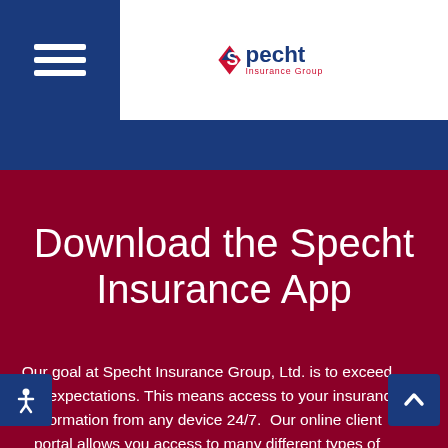[Figure (logo): Specht Insurance Group logo — diamond arrow shape in red/navy with company name in bold navy and red text]
Download the Specht Insurance App
Our goal at Specht Insurance Group, Ltd. is to exceed your expectations. This means access to your insurance information from any device 24/7.  Our online client portal allows you access to many different types of information pertaining to your account. Set up your own